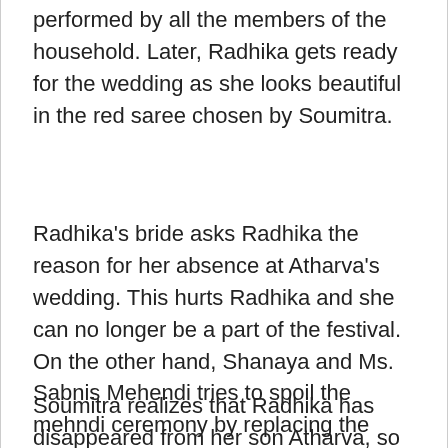performed by all the members of the household. Later, Radhika gets ready for the wedding as she looks beautiful in the red saree chosen by Soumitra.
Radhika's bride asks Radhika the reason for her absence at Atharva's wedding. This hurts Radhika and she can no longer be a part of the festival. On the other hand, Shanaya and Ms. Sabnis Mehendi tries to spoil the mehndi ceremony by replacing the cone with dung, but fortunately Bakula Mavis finds out about it in time and teaches him a lesson. Majhya Navryachi Bayko 26 December
Soumitra realizes that Radhika has disappeared from her son Atharva, so she is